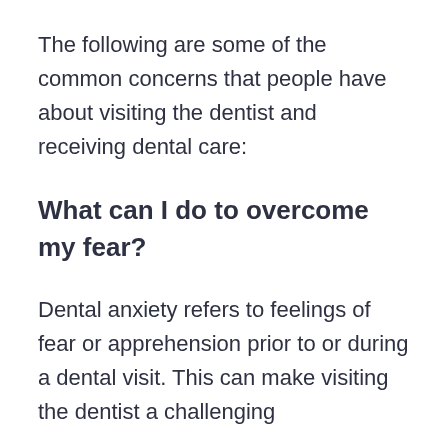The following are some of the common concerns that people have about visiting the dentist and receiving dental care:
What can I do to overcome my fear?
Dental anxiety refers to feelings of fear or apprehension prior to or during a dental visit. This can make visiting the dentist a challenging